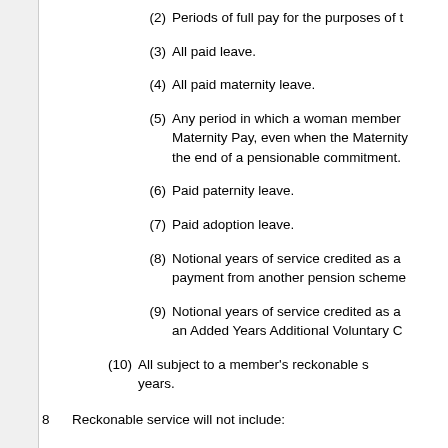(2) Periods of full pay for the purposes of t
(3) All paid leave.
(4) All paid maternity leave.
(5) Any period in which a woman member Maternity Pay, even when the Maternity the end of a pensionable commitment.
(6) Paid paternity leave.
(7) Paid adoption leave.
(8) Notional years of service credited as a payment from another pension scheme
(9) Notional years of service credited as a an Added Years Additional Voluntary C
(10) All subject to a member's reckonable s years.
8 Reckonable service will not include:
(1) Service forfeited by desertion unless su subsequently restored.